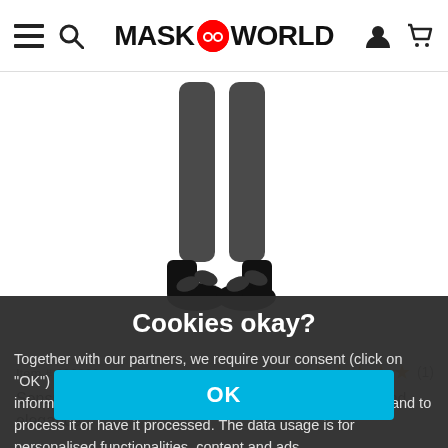MASKWORLD
[Figure (photo): Legs wearing black sheer stockings and black high-heeled sandals on a white background]
Item # 203903
★★★★★ (1)
Sensually seductive accessory that combines style and elegance.
Cookies okay?
Together with our partners, we require your consent (click on "OK") for individual data uses in order to store and retrieve information (e.g. browser information, user ID, IP address) and to process it or have it processed. The data usage is for personalised functionalities, content and ads
OK